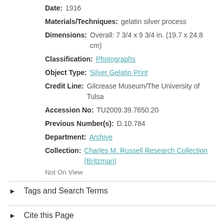Date: 1916
Materials/Techniques: gelatin silver process
Dimensions: Overall: 7 3/4 x 9 3/4 in. (19.7 x 24.8 cm)
Classification: Photographs
Object Type: Silver Gelatin Print
Credit Line: Gilcrease Museum/The University of Tulsa
Accession No: TU2009.39.7650.20
Previous Number(s): D.10.784
Department: Archive
Collection: Charles M. Russell Research Collection (Britzman)
Not On View
Tags and Search Terms
Cite this Page
Our Online Collections site is a work in progress. If you have